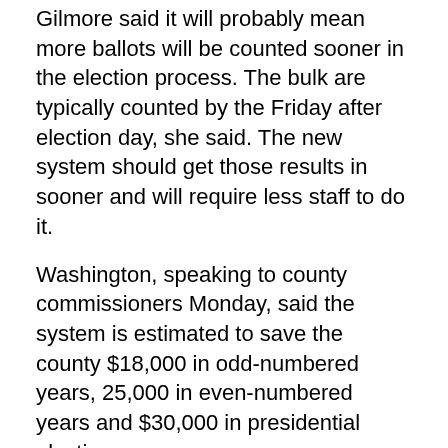Gilmore said it will probably mean more ballots will be counted sooner in the election process. The bulk are typically counted by the Friday after election day, she said. The new system should get those results in sooner and will require less staff to do it.
Washington, speaking to county commissioners Monday, said the system is estimated to save the county $18,000 in odd‑numbered years, 25,000 in even-numbered years and $30,000 in presidential election years.
Money for the system comes out of fees the county collects by those paying for the election. Fifteen percent of those fees are set aside for technology and capital improvements, Gilmore said.
Gilmore said the system will be used for the May election if the county can have it installed that quickly.